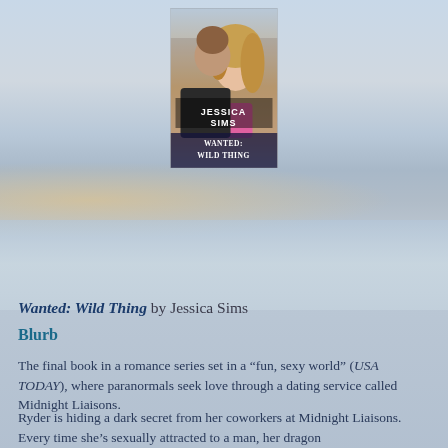[Figure (illustration): Book cover of 'Wanted: Wild Thing' by Jessica Sims showing a romantic couple, man kissing woman's cheek, woman with blonde hair, in pink top, ocean/beach background]
Wanted: Wild Thing by Jessica Sims
Blurb
The final book in a romance series set in a “fun, sexy world” (USA TODAY), where paranormals seek love through a dating service called Midnight Liaisons.
Ryder is hiding a dark secret from her coworkers at Midnight Liaisons. Every time she’s sexually attracted to a man, her dragon